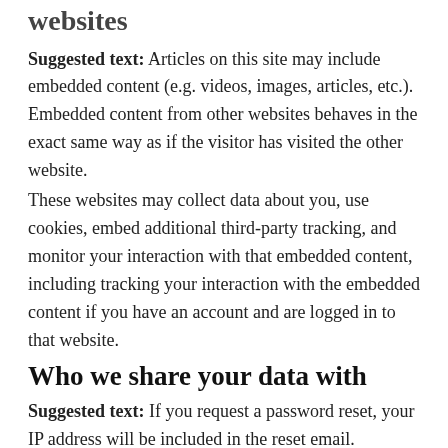websites
Suggested text: Articles on this site may include embedded content (e.g. videos, images, articles, etc.). Embedded content from other websites behaves in the exact same way as if the visitor has visited the other website.
These websites may collect data about you, use cookies, embed additional third-party tracking, and monitor your interaction with that embedded content, including tracking your interaction with the embedded content if you have an account and are logged in to that website.
Who we share your data with
Suggested text: If you request a password reset, your IP address will be included in the reset email.
How long we retain your data
Suggested text: If you leave a comment, the